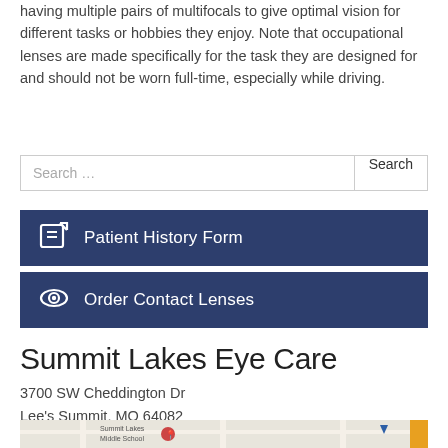having multiple pairs of multifocals to give optimal vision for different tasks or hobbies they enjoy. Note that occupational lenses are made specifically for the task they are designed for and should not be worn full-time, especially while driving.
Search ...
Patient History Form
Order Contact Lenses
Summit Lakes Eye Care
3700 SW Cheddington Dr
Lee's Summit, MO 64082
[Figure (map): Map showing location of Summit Lakes Eye Care near Summit Lakes Middle School]